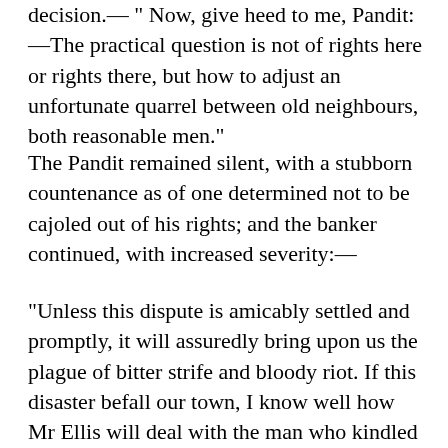decision.— " Now, give heed to me, Pandit:—The practical question is not of rights here or rights there, but how to adjust an unfortunate quarrel between old neighbours, both reasonable men."
The Pandit remained silent, with a stubborn countenance as of one determined not to be cajoled out of his rights; and the banker continued, with increased severity:—
"Unless this dispute is amicably settled and promptly, it will assuredly bring upon us the plague of bitter strife and bloody riot. If this disaster befall our town, I know well how Mr Ellis will deal with the man who kindled the mischief—and so does the Tahsilddr Sdhib and the Ldla here too."